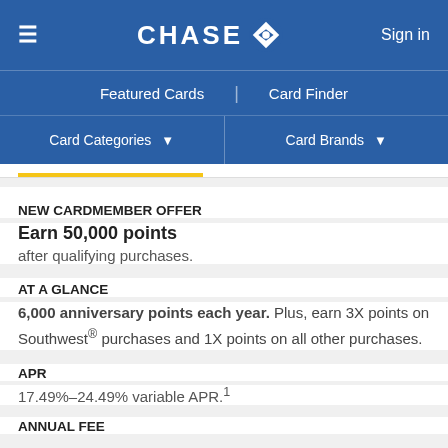CHASE  Sign in
Featured Cards | Card Finder
Card Categories  Card Brands
NEW CARDMEMBER OFFER
Earn 50,000 points after qualifying purchases.
AT A GLANCE
6,000 anniversary points each year. Plus, earn 3X points on Southwest® purchases and 1X points on all other purchases.
APR
17.49%–24.49% variable APR.¹
ANNUAL FEE